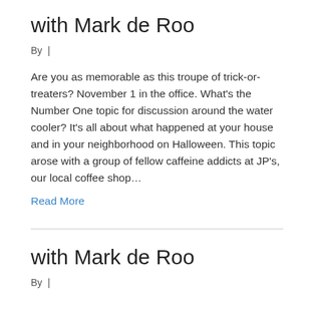with Mark de Roo
By  |
Are you as memorable as this troupe of trick-or-treaters? November 1 in the office. What's the Number One topic for discussion around the water cooler? It's all about what happened at your house and in your neighborhood on Halloween. This topic arose with a group of fellow caffeine addicts at JP's, our local coffee shop…
Read More
with Mark de Roo
By  |